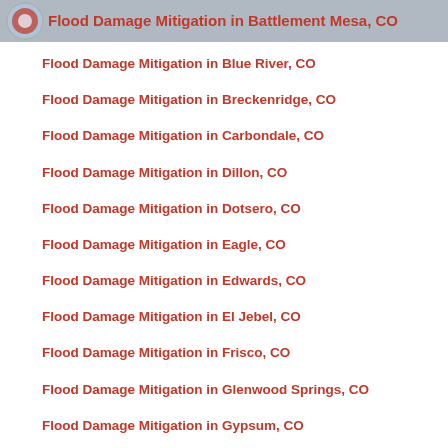Flood Damage Mitigation in Battlement Mesa, CO
Flood Damage Mitigation in Blue River, CO
Flood Damage Mitigation in Breckenridge, CO
Flood Damage Mitigation in Carbondale, CO
Flood Damage Mitigation in Dillon, CO
Flood Damage Mitigation in Dotsero, CO
Flood Damage Mitigation in Eagle, CO
Flood Damage Mitigation in Edwards, CO
Flood Damage Mitigation in El Jebel, CO
Flood Damage Mitigation in Frisco, CO
Flood Damage Mitigation in Glenwood Springs, CO
Flood Damage Mitigation in Gypsum, CO